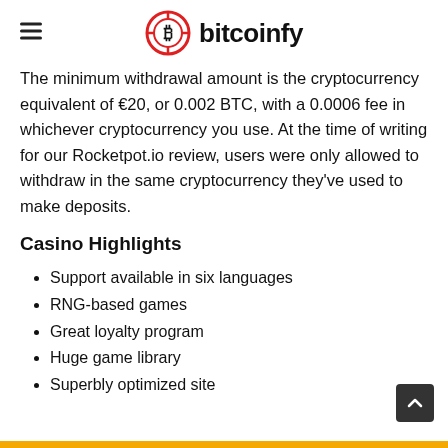bitcoinfy
The minimum withdrawal amount is the cryptocurrency equivalent of €20, or 0.002 BTC, with a 0.0006 fee in whichever cryptocurrency you use. At the time of writing for our Rocketpot.io review, users were only allowed to withdraw in the same cryptocurrency they've used to make deposits.
Casino Highlights
Support available in six languages
RNG-based games
Great loyalty program
Huge game library
Superbly optimized site